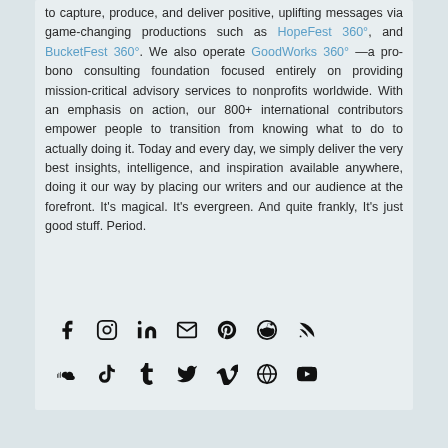to capture, produce, and deliver positive, uplifting messages via game-changing productions such as HopeFest 360°, and BucketFest 360°. We also operate GoodWorks 360° —a pro-bono consulting foundation focused entirely on providing mission-critical advisory services to nonprofits worldwide. With an emphasis on action, our 800+ international contributors empower people to transition from knowing what to do to actually doing it. Today and every day, we simply deliver the very best insights, intelligence, and inspiration available anywhere, doing it our way by placing our writers and our audience at the forefront. It's magical. It's evergreen. And quite frankly, It's just good stuff. Period.
[Figure (infographic): Two rows of social media icons: Facebook, Instagram, LinkedIn, Email, Pinterest, Reddit, RSS (top row); SoundCloud, TikTok, Tumblr, Twitter, Vimeo, WordPress, YouTube (bottom row)]